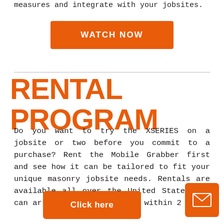measures and integrate with your jobsites.
[Figure (other): Orange button with text WATCH NOW]
RENTAL PROGRAM
Do you want to try the XSERIES on a jobsite or two before you commit to a purchase? Rent the Mobile Grabber first and see how it can be tailored to fit your unique masonry jobsite needs. Rentals are available all over the United States and can arrive to most jobsites within 2 days.
[Figure (other): Orange button with text Click here]
[Figure (other): Orange square button with envelope/mail icon]